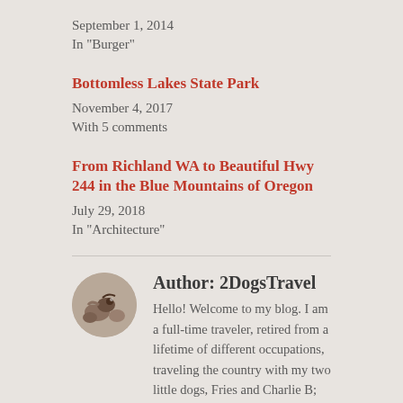September 1, 2014
In "Burger"
Bottomless Lakes State Park
November 4, 2017
With 5 comments
From Richland WA to Beautiful Hwy 244 in the Blue Mountains of Oregon
July 29, 2018
In "Architecture"
Author: 2DogsTravel
Hello! Welcome to my blog. I am a full-time traveler, retired from a lifetime of different occupations, traveling the country with my two little dogs, Fries and Charlie B; The Chiweenie Brothers. You never